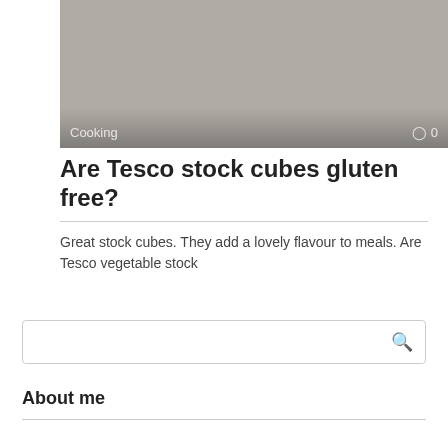[Figure (photo): Gray/beige toned image with 'Cooking' label and comment icon overlay at the bottom]
Are Tesco stock cubes gluten free?
Great stock cubes. They add a lovely flavour to meals. Are Tesco vegetable stock
About me